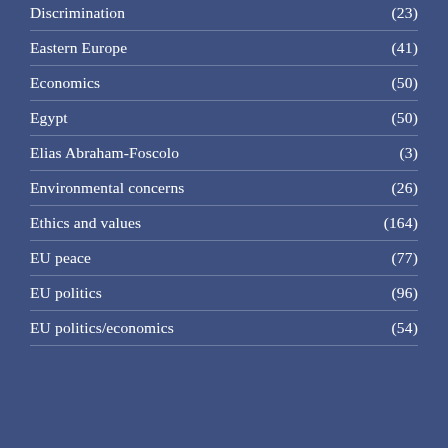Discrimination (23)
Eastern Europe (41)
Economics (50)
Egypt (50)
Elias Abraham-Foscolo (3)
Environmental concerns (26)
Ethics and values (164)
EU peace (77)
EU politics (96)
EU politics/economics (54)